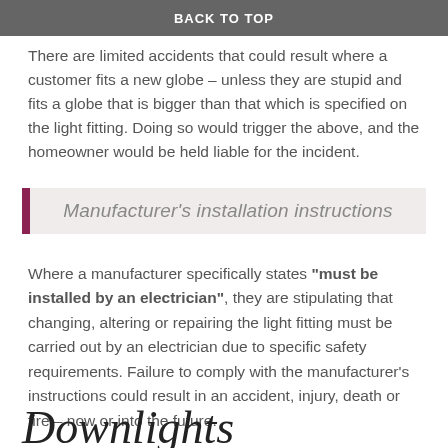BACK TO TOP
There are limited accidents that could result where a customer fits a new globe – unless they are stupid and fits a globe that is bigger than that which is specified on the light fitting. Doing so would trigger the above, and the homeowner would be held liable for the incident.
Manufacturer's installation instructions
Where a manufacturer specifically states "must be installed by an electrician", they are stipulating that changing, altering or repairing the light fitting must be carried out by an electrician due to specific safety requirements. Failure to comply with the manufacturer's instructions could result in an accident, injury, death or fire – now or into the future.
Downlights